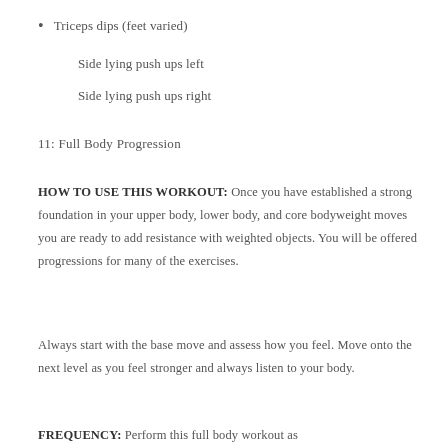Triceps dips (feet varied)
Side lying push ups left
Side lying push ups right
11: Full Body Progression
HOW TO USE THIS WORKOUT: Once you have established a strong foundation in your upper body, lower body, and core bodyweight moves you are ready to add resistance with weighted objects. You will be offered progressions for many of the exercises.
Always start with the base move and assess how you feel. Move onto the next level as you feel stronger and always listen to your body.
FREQUENCY: Perform this full body workout as